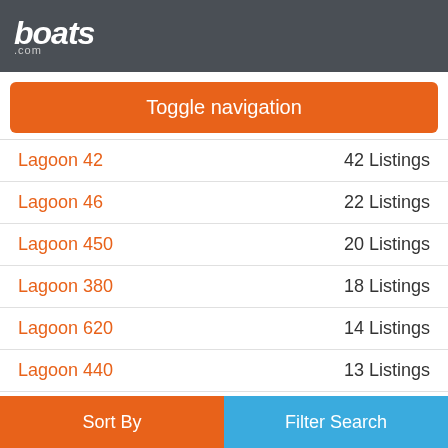boats.com
Toggle navigation
Lagoon 42 — 42 Listings
Lagoon 46 — 22 Listings
Lagoon 450 — 20 Listings
Lagoon 380 — 18 Listings
Lagoon 620 — 14 Listings
Lagoon 440 — 13 Listings
Lagoon 450 F — 13 Listings
Sort By | Filter Search